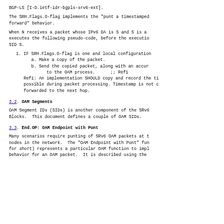BGP-LS [I-D.ietf-idr-bgpls-srv6-ext].
The SRH.Flags.O-flag implements the "punt a timestamped forward" behavior.
When N receives a packet whose IPv6 DA is S and S is a executes the following pseudo-code, before the executio SID S.
1. IF SRH.Flags.O-flag is one and local configuration
   a. Make a copy of the packet.
   b. Send the copied packet, along with an accur to the OAM process.      ;; Ref1
Ref1: An implementation SHOULD copy and record the ti possible during packet processing. Timestamp is not c forwarded to the next hop.
3.2.  OAM Segments
OAM Segment IDs (SIDs) is another component of the SRv6 Blocks.  This document defines a couple of OAM SIDs.
3.3.  End.OP: OAM Endpoint with Punt
Many scenarios require punting of SRv6 OAM packets at t nodes in the network.  The "OAM Endpoint with Punt" fun for short) represents a particular OAM function to impl behavior for an OAM packet.  It is described using the